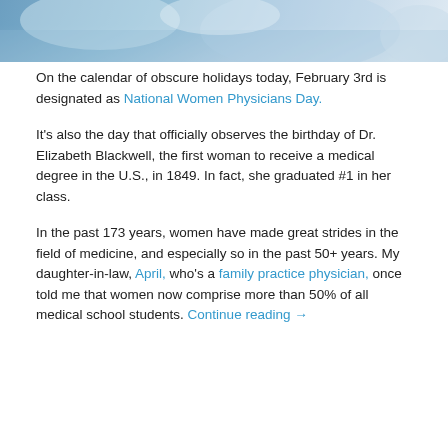[Figure (photo): Partial photo of people in a medical or casual setting, cropped at top of page showing clothing in blue tones]
On the calendar of obscure holidays today, February 3rd is designated as National Women Physicians Day.
It's also the day that officially observes the birthday of Dr. Elizabeth Blackwell, the first woman to receive a medical degree in the U.S., in 1849. In fact, she graduated #1 in her class.
In the past 173 years, women have made great strides in the field of medicine, and especially so in the past 50+ years. My daughter-in-law, April, who's a family practice physician, once told me that women now comprise more than 50% of all medical school students. Continue reading →